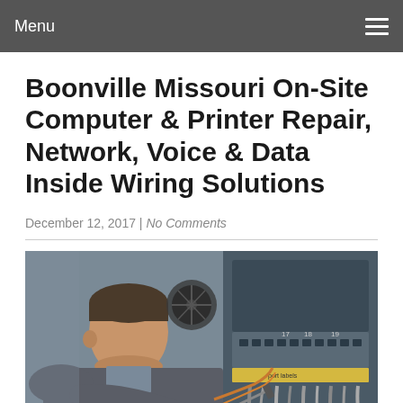Menu
Boonville Missouri On-Site Computer & Printer Repair, Network, Voice & Data Inside Wiring Solutions
December 12, 2017 | No Comments
[Figure (photo): A male technician in a grey jacket leaning over and working on computer/network hardware, with cable patch panels visible in the background showing port numbers 17, 18, 19.]